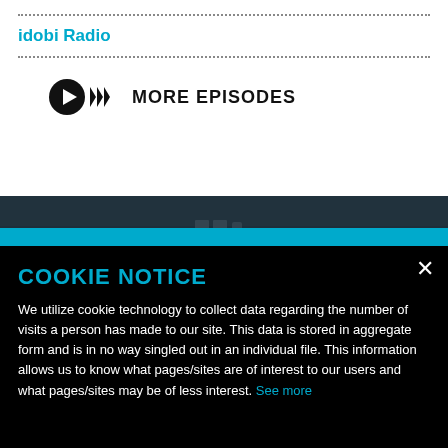idobi Radio
MORE EPISODES
[Figure (screenshot): Dark textured background image strip with faint shapes visible, partially covered by a cyan bar]
COOKIE NOTICE
We utilize cookie technology to collect data regarding the number of visits a person has made to our site. This data is stored in aggregate form and is in no way singled out in an individual file. This information allows us to know what pages/sites are of interest to our users and what pages/sites may be of less interest. See more